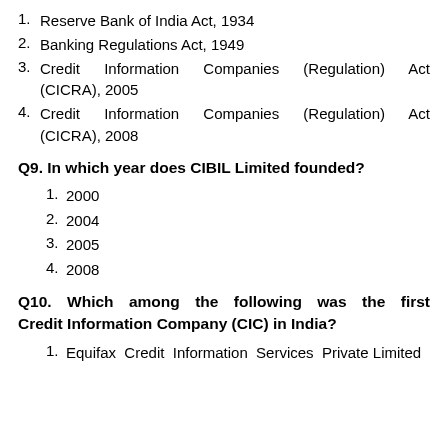1. Reserve Bank of India Act, 1934
2. Banking Regulations Act, 1949
3. Credit Information Companies (Regulation) Act (CICRA), 2005
4. Credit Information Companies (Regulation) Act (CICRA), 2008
Q9. In which year does CIBIL Limited founded?
1. 2000
2. 2004
3. 2005
4. 2008
Q10. Which among the following was the first Credit Information Company (CIC) in India?
1. Equifax Credit Information Services Private Limited